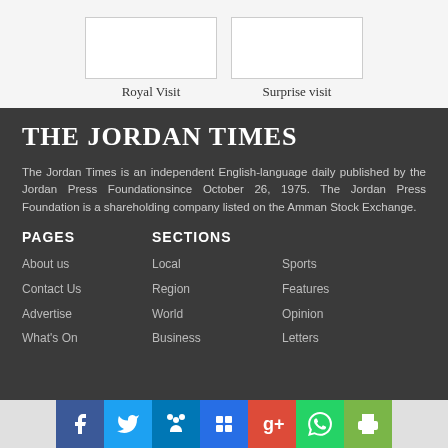Royal Visit
Surprise visit
THE JORDAN TIMES
The Jordan Times is an independent English-language daily published by the Jordan Press Foundationsince October 26, 1975. The Jordan Press Foundation is a shareholding company listed on the Amman Stock Exchange.
PAGES
SECTIONS
About us
Contact Us
Advertise
What's On
Local
Region
World
Business
Sports
Features
Opinion
Letters
Social share bar: Facebook, Twitter, LinkedIn, Delicious, Google+, WhatsApp, Print